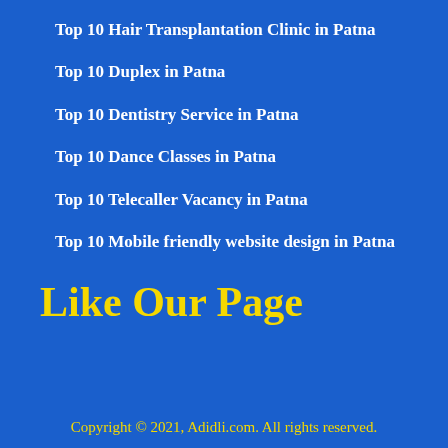Top 10 Hair Transplantation Clinic in Patna
Top 10 Duplex in Patna
Top 10 Dentistry Service in Patna
Top 10 Dance Classes in Patna
Top 10 Telecaller Vacancy in Patna
Top 10 Mobile friendly website design in Patna
Like Our Page
Copyright © 2021, Adidli.com. All rights reserved.